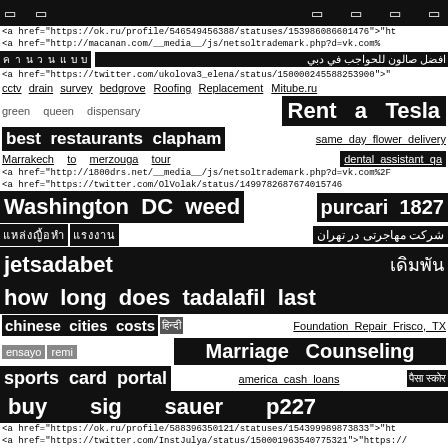[black blocks] [black blocks] [black blocks] [black blocks] [black blocks]
<a href="https://ok.ru/profile/546549456388/statuses/153986086601476">"ht
<a href="http://macanan.com/__media__/js/netsoltrademark.php?d=vk.com%
[Thai script] افضل صالون للحواجب في دبي
<a href="https://twitter.com/ukolova3_elena/status/150000245588253900">'
cctv drain survey bedgrove   Roofing Replacement   Mitube.ru
green   queen   dispensary   Rent a Tesla
best restaurants clapham   same day flower delivery
Marrakech to merzouga tour   dental assistant qa
<a href="http://1800drs.net/__media__/js/netsoltrademark.php?d=vk.com%2F
<a href="https://twitter.com/OlVolak/status/1499782687674015746
Washington DC weed   purcari 1827
[Thai script]   شركت مهاجرتی در تهران
jetsadabet   [Thai script]
how long does tadalafil last
chinese cities costs   [Hindi script]   Foundation Repair Frisco, TX
ensayo   remi   Marriage Counseling
sports card portal   america cash loans   [Hindi script]
buy sig sauer p227
<a href="https://ok.ru/profile/588396350121/statuses/154399989873833">"ht
<a href="https://twitter.com/InstJulya/status/150001963540775321">"https://
wedding   anniversary   flowers